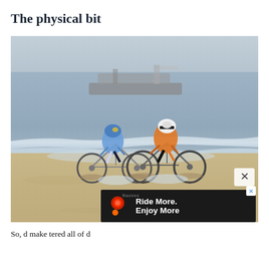The physical bit
[Figure (photo): Two cyclists racing on wet beach sand near the shoreline, wearing helmets and race jerseys (blue and orange). A large ship is visible in the background on the sea. An advertisement overlay ('Ride More. Enjoy More') appears at the bottom right of the image.]
So, d make tered all of d